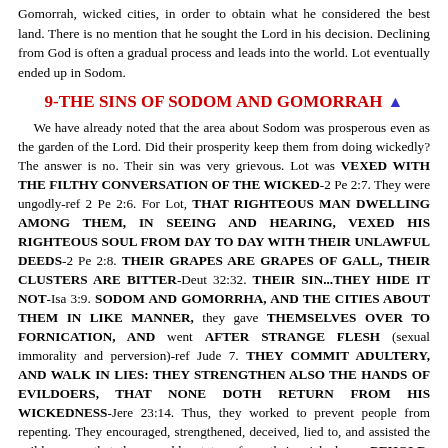Gomorrah, wicked cities, in order to obtain what he considered the best land. There is no mention that he sought the Lord in his decision. Declining from God is often a gradual process and leads into the world. Lot eventually ended up in Sodom.
9-THE SINS OF SODOM AND GOMORRAH ▲
We have already noted that the area about Sodom was prosperous even as the garden of the Lord. Did their prosperity keep them from doing wickedly? The answer is no. Their sin was very grievous. Lot was VEXED WITH THE FILTHY CONVERSATION OF THE WICKED-2 Pe 2:7. They were ungodly-ref 2 Pe 2:6. For Lot, THAT RIGHTEOUS MAN DWELLING AMONG THEM, IN SEEING AND HEARING, VEXED HIS RIGHTEOUS SOUL FROM DAY TO DAY WITH THEIR UNLAWFUL DEEDS-2 Pe 2:8. THEIR GRAPES ARE GRAPES OF GALL, THEIR CLUSTERS ARE BITTER-Deut 32:32. THEIR SIN...THEY HIDE IT NOT-Isa 3:9. SODOM AND GOMORRHA, AND THE CITIES ABOUT THEM IN LIKE MANNER, they gave THEMSELVES OVER TO FORNICATION, AND went AFTER STRANGE FLESH (sexual immorality and perversion)-ref Jude 7. THEY COMMIT ADULTERY, AND WALK IN LIES: THEY STRENGTHEN ALSO THE HANDS OF EVILDOERS, THAT NONE DOTH RETURN FROM HIS WICKEDNESS-Jere 23:14. Thus, they worked to prevent people from repenting. They encouraged, strengthened, deceived, lied to, and assisted the evildoers, so that they would not turn from their wickedness. BEHOLD, THIS WAS THE INIQUITY OF THY SISTER SODOM, PRIDE (arrogant), FULLNESS OF BREAD, AND ABUNDANCE OF IDLENESS (overfed and unconcerned)...NEITHER DID SHE STRENGTHEN THE HAND OF THE POOR AND NEEDY (did not help the poor and needy-NIV). AND THEY WERE HAUGHTY, AND COMMITTED ABOMINATION (detestable